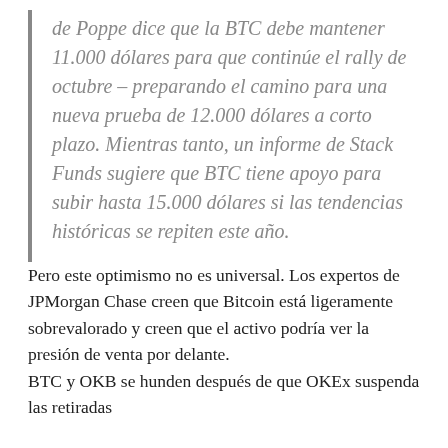de Poppe dice que la BTC debe mantener 11.000 dólares para que continúe el rally de octubre – preparando el camino para una nueva prueba de 12.000 dólares a corto plazo. Mientras tanto, un informe de Stack Funds sugiere que BTC tiene apoyo para subir hasta 15.000 dólares si las tendencias históricas se repiten este año.
Pero este optimismo no es universal. Los expertos de JPMorgan Chase creen que Bitcoin está ligeramente sobrevalorado y creen que el activo podría ver la presión de venta por delante.
BTC y OKB se hunden después de que OKEx suspenda las retiradas